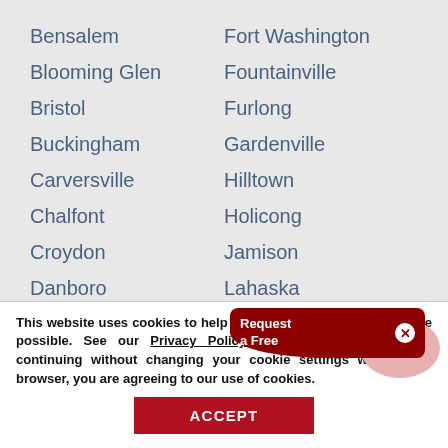Bensalem
Fort Washington
Blooming Glen
Fountainville
Bristol
Furlong
Buckingham
Gardenville
Carversville
Hilltown
Chalfont
Holicong
Croydon
Jamison
Danboro
Lahaska
Doylestown
Langhorne
Dublin
Levit...
This website uses cookies to help provide you the best experience possible. See our Privacy Policy for more information. By continuing without changing your cookie settings within your browser, you are agreeing to our use of cookies.